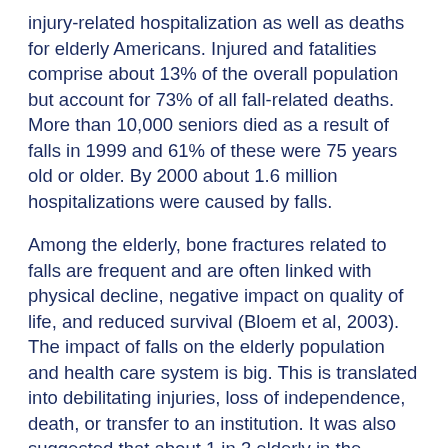injury-related hospitalization as well as deaths for elderly Americans. Injured and fatalities comprise about 13% of the overall population but account for 73% of all fall-related deaths. More than 10,000 seniors died as a result of falls in 1999 and 61% of these were 75 years old or older. By 2000 about 1.6 million hospitalizations were caused by falls.
Among the elderly, bone fractures related to falls are frequent and are often linked with physical decline, negative impact on quality of life, and reduced survival (Bloem et al, 2003). The impact of falls on the elderly population and health care system is big. This is translated into debilitating injuries, loss of independence, death, or transfer to an institution. It was also suggested that about 1 in 3 elderly in the community experience at least one fall a year. Van Beurden et al (1998) added that many countries populated by aging baby boomers already experience and anticipate an increased number of injuries from falls. This is a growing public health problem that